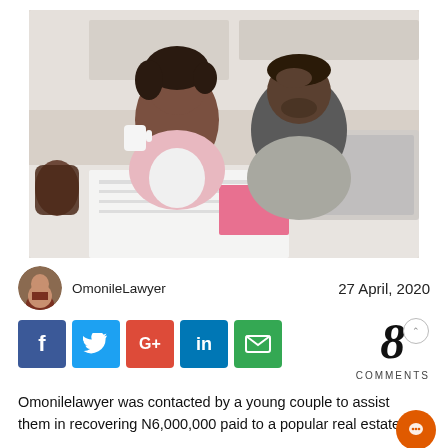[Figure (photo): A young couple sitting at a table looking stressed, woman holding a cup and man resting his head on his hand, with papers and a laptop in front of them.]
OmonileLawyer
27 April, 2020
[Figure (infographic): Social media share buttons: Facebook, Twitter, Google+, LinkedIn, Email]
8 COMMENTS
Omonilelawyer was contacted by a young couple to assist them in recovering N6,000,000 paid to a popular real estate